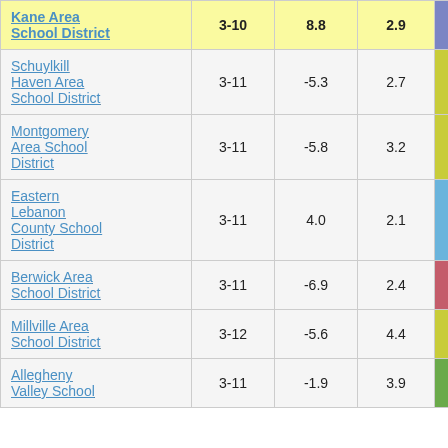| District | Grades | Col3 | Col4 | Score |
| --- | --- | --- | --- | --- |
| Kane Area School District | 3-10 | 8.8 | 2.9 | 3.07 |
| Schuylkill Haven Area School District | 3-11 | -5.3 | 2.7 | -1.96 |
| Montgomery Area School District | 3-11 | -5.8 | 3.2 | -1.83 |
| Eastern Lebanon County School District | 3-11 | 4.0 | 2.1 | 1.89 |
| Berwick Area School District | 3-11 | -6.9 | 2.4 | -2.84 |
| Millville Area School District | 3-12 | -5.6 | 4.4 | -1.26 |
| Allegheny Valley School | 3-11 | -1.9 | 3.9 | -0.48 |